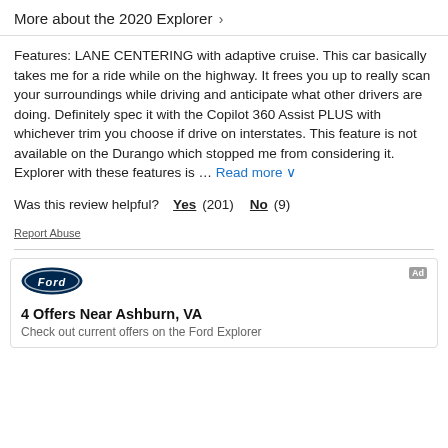More about the 2020 Explorer >
Features: LANE CENTERING with adaptive cruise. This car basically takes me for a ride while on the highway. It frees you up to really scan your surroundings while driving and anticipate what other drivers are doing. Definitely spec it with the Copilot 360 Assist PLUS with whichever trim you choose if drive on interstates. This feature is not available on the Durango which stopped me from considering it. Explorer with these features is … Read more
Was this review helpful?   Yes (201)   No (9)
Report Abuse
[Figure (logo): Ford oval logo in blue and white]
Ad
4 Offers Near Ashburn, VA
Check out current offers on the Ford Explorer